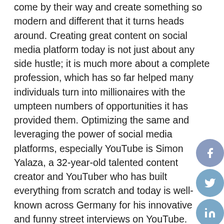come by their way and create something so modern and different that it turns heads around. Creating great content on social media platform today is not just about any side hustle; it is much more about a complete profession, which has so far helped many individuals turn into millionaires with the umpteen numbers of opportunities it has provided them. Optimizing the same and leveraging the power of social media platforms, especially YouTube is Simon Yalaza, a 32-year-old talented content creator and YouTuber who has built everything from scratch and today is well-known across Germany for his innovative and funny street interviews on YouTube.
Many people give up halfway considering the challenges that might come their way while becoming